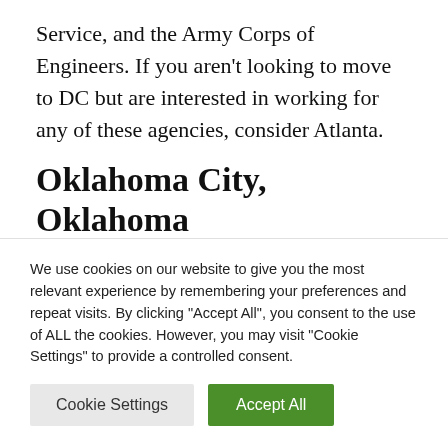Service, and the Army Corps of Engineers. If you aren't looking to move to DC but are interested in working for any of these agencies, consider Atlanta.
Oklahoma City, Oklahoma
Oklahoma City is home of Tinker Air Force base. The base provides employment for many in the area and is operated by the
We use cookies on our website to give you the most relevant experience by remembering your preferences and repeat visits. By clicking "Accept All", you consent to the use of ALL the cookies. However, you may visit "Cookie Settings" to provide a controlled consent.